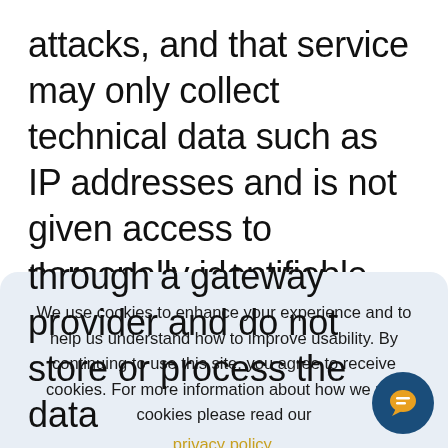attacks, and that service may only collect technical data such as IP addresses and is not given access to personally identifiable information. This data is used to prevent
We use cookies to enhance your experience and to help us understand how to improve usability. By continuing to use this site, you agree to receive cookies. For more information about how we use cookies please read our privacy policy.
through a gateway provider and do not store or process the data